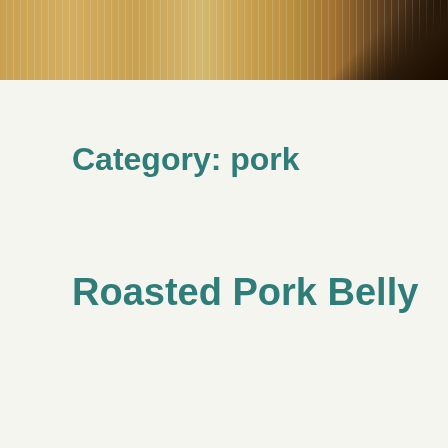[Figure (photo): Top portion of a food photo showing a roasted pork belly dish on a decorative woven surface with a dark bowl or plate visible at the top right corner.]
Category: pork
Roasted Pork Belly